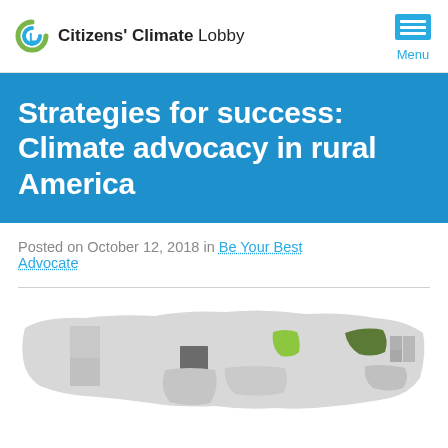Citizens' Climate Lobby | Menu
Strategies for success: Climate advocacy in rural America
Posted on October 12, 2018 in Be Your Best Advocate
[Figure (map): Map of the United States with several states highlighted in green and dark green shades, showing rural climate advocacy locations.]